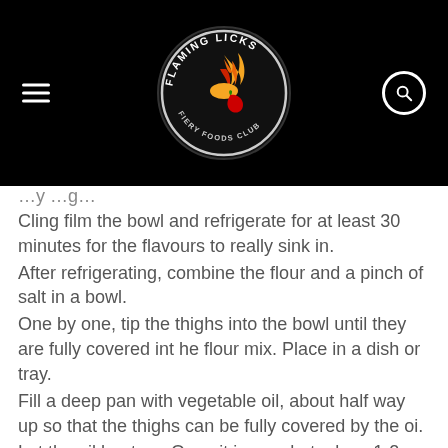[Figure (logo): Flaming Licks Fiery Foods Club circular logo with flame and chili pepper, white text on black background]
Cling film the bowl and refrigerate for at least 30 minutes for the flavours to really sink in.
After refrigerating, combine the flour and a pinch of salt in a bowl.
One by one, tip the thighs into the bowl until they are fully covered int he flour mix. Place in a dish or tray.
Fill a deep pan with vegetable oil, about half way up so that the thighs can be fully covered by the oi.
Let the oil heat up. Once it is very hot, place 1-2 chicken thighs carefully in. Let them cook for about 15 minutes, until fully cooked through. Place in a metal rack.